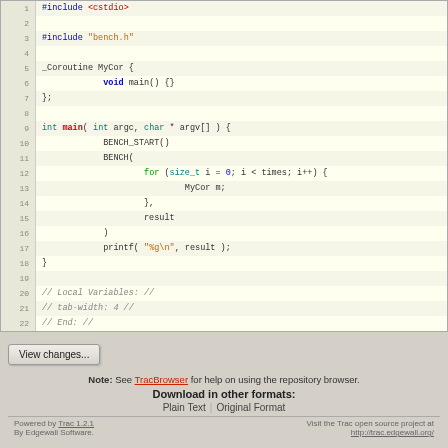[Figure (screenshot): Syntax-highlighted C source code listing with line numbers 1-22, showing coroutine benchmark code]
View changes...
Note: See TracBrowser for help on using the repository browser.
Download in other formats:
Plain Text | Original Format
Powered by Trac 1.2.1  By Edgewall Software.  Visit the Trac open source project at http://trac.edgewall.org/